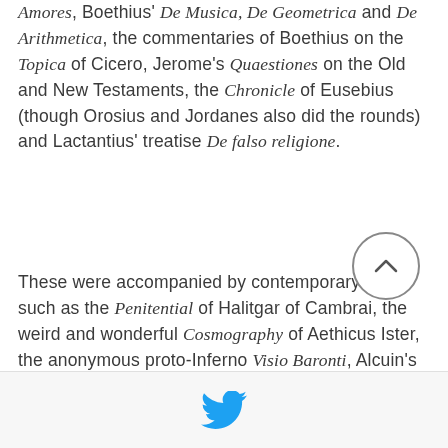Amores, Boethius' De Musica, De Geometrica and De Arithmetica, the commentaries of Boethius on the Topica of Cicero, Jerome's Quaestiones on the Old and New Testaments, the Chronicle of Eusebius (though Orosius and Jordanes also did the rounds) and Lactantius' treatise De falso religione.
These were accompanied by contemporary works such as the Penitential of Halitgar of Cambrai, the weird and wonderful Cosmography of Aethicus Ister, the anonymous proto-Inferno Visio Baronti, Alcuin's theological works, and the De institutione laicali of Jonas of Orleans.
[Figure (other): Circular scroll-to-top button with chevron/caret icon pointing upward]
[Figure (logo): Twitter bird logo icon in cyan/blue color]